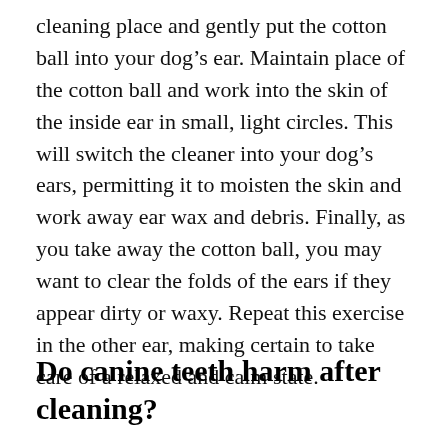cleaning place and gently put the cotton ball into your dog’s ear. Maintain place of the cotton ball and work into the skin of the inside ear in small, light circles. This will switch the cleaner into your dog’s ears, permitting it to moisten the skin and work away ear wax and debris. Finally, as you take away the cotton ball, you may want to clear the folds of the ears if they appear dirty or waxy. Repeat this exercise in the other ear, making certain to take care of a relaxed and calm state.
Do canine teeth harm after cleaning?